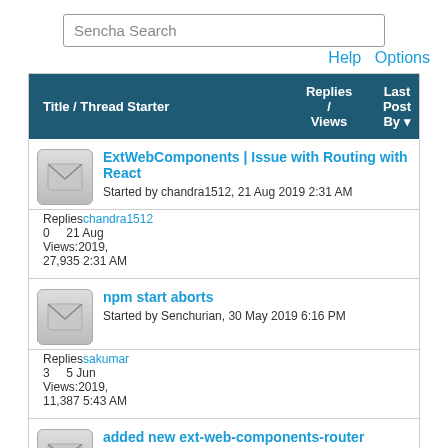Sencha Search
Help   Options
| Title / Thread Starter | Replies / Views | Last Post By |
| --- | --- | --- |
| ExtWebComponents | Issue with Routing with React
Started by chandra1512, 21 Aug 2019 2:31 AM | 0
Views: 27,935 | chandra1512
21 Aug
2019,
2:31 AM |
| npm start aborts
Started by Senchurian, 30 May 2019 6:16 PM | 3
Views: 11,387 | sakumar
5 Jun
2019,
5:43 AM |
| added new ext-web-components-router |  |  |